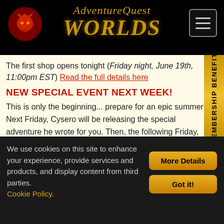AdventureQuest Worlds
The first shop opens tonight (Friday night, June 19th, 11:00pm EST) Read the full details here
NEW SPECIAL EVENT NEXT WEEK!
This is only the beginning... prepare for an epic summer! Next Friday, Cysero will be releasing the special adventure he wrote for you. Then, the following Friday, Beleen and Nulgath are teaming up for yet another special release! THEN... I am going to create our first "living dungeon." Keep checking the design notes for more. If you are enjoying the game and our hard work, please consider supporting us by getting
We use cookies on this site to enhance your experience, provide services and products, and display content from third parties. Cookie Policy.